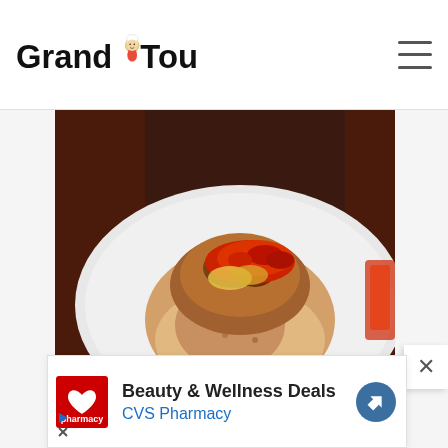Grand Tour (logo) with hamburger menu icon
[Figure (photo): Close-up photo of a cooked stuffed chicken breast on a white plate, topped with tomato sauce and garnished with sliced cucumbers, on a dark wooden background.]
[Figure (other): Advertisement banner: CVS Pharmacy logo (red square with heart), text 'Beauty & Wellness Deals' (bold black) and 'CVS Pharmacy' (blue), blue diamond arrow icon on the right. Below: play triangle and X close icons.]